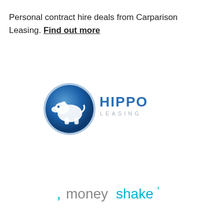Personal contract hire deals from Carparison Leasing. Find out more
[Figure (logo): Hippo Leasing logo: blue circular emblem with white hippo silhouette, next to the text HIPPO LEASING in blue and grey letters]
[Figure (logo): Moneyshake logo: stylised text with 'money' in grey and 'shake' in cyan/blue, with a small quotation-mark style icon before the word and an apostrophe after]